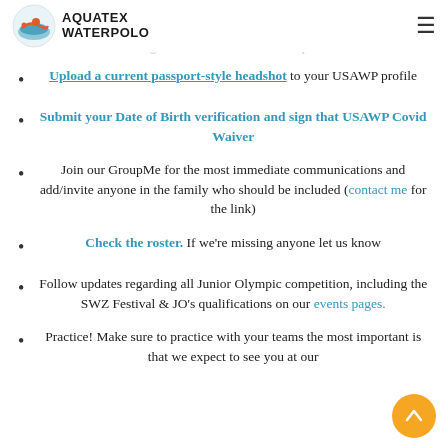AQUATEX WATERPOLO
A guide to Gold membership
Upload a current passport-style headshot to your USAWP profile
Submit your Date of Birth verification and sign that USAWP Covid Waiver
Join our GroupMe for the most immediate communications and add/invite anyone in the family who should be included (contact me for the link)
Check the roster. If we're missing anyone let us know
Follow updates regarding all Junior Olympic competition, including the SWZ Festival & JO's qualifications on our events pages.
Practice! Make sure to practice with your teams the most important is that we expect to see you at our